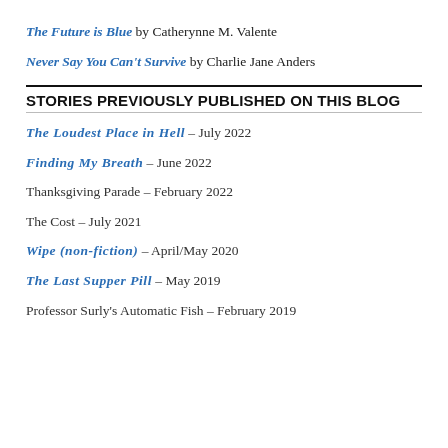The Future is Blue by Catherynne M. Valente
Never Say You Can't Survive by Charlie Jane Anders
STORIES PREVIOUSLY PUBLISHED ON THIS BLOG
The Loudest Place in Hell – July 2022
Finding My Breath – June 2022
Thanksgiving Parade – February 2022
The Cost – July 2021
Wipe (non-fiction) – April/May 2020
The Last Supper Pill – May 2019
Professor Surly's Automatic Fish – February 2019